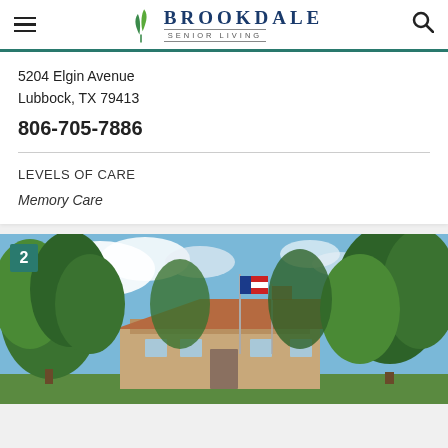Brookdale Senior Living
5204 Elgin Avenue
Lubbock, TX 79413
806-705-7886
LEVELS OF CARE
Memory Care
[Figure (photo): Exterior photo of a Brookdale Senior Living facility showing a brick building partially obscured by large green trees, an American flag on a flagpole, and a blue sky with white clouds. A green badge with the number 2 appears in the top-left corner.]